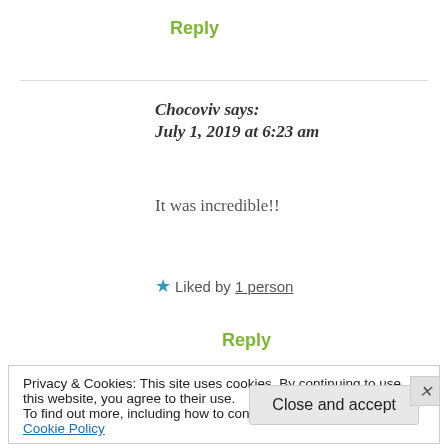Reply
Chocoviv says:
July 1, 2019 at 6:23 am
It was incredible!!
★ Liked by 1 person
Reply
Privacy & Cookies: This site uses cookies. By continuing to use this website, you agree to their use.
To find out more, including how to control cookies, see here: Cookie Policy
Close and accept